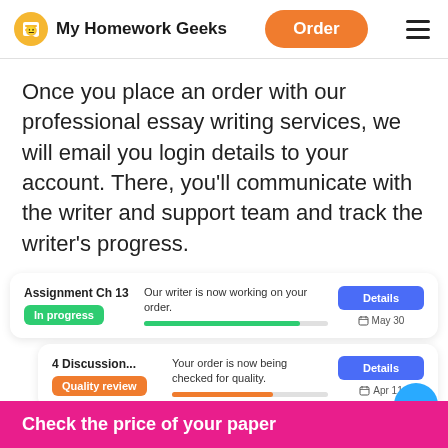My Homework Geeks | Order | Menu
Once you place an order with our professional essay writing services, we will email you login details to your account. There, you'll communicate with the writer and support team and track the writer's progress.
[Figure (screenshot): UI card showing 'Assignment Ch 13' with 'In progress' green badge, writer working message, green progress bar, Details button, May 30 date]
[Figure (screenshot): UI card showing '4 Discussion...' with 'Quality review' orange badge, quality check message, orange progress bar, Details button, Apr 11 date]
[Figure (screenshot): UI card showing 'Moral & Ethical...' with completed order message, gray progress bar, Details button, Sep 20 date]
Check the price of your paper